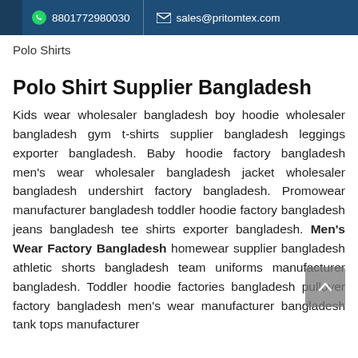8801772980030   sales@pritomtex.com
Polo Shirts
Polo Shirt Supplier Bangladesh
Kids wear wholesaler bangladesh boy hoodie wholesaler bangladesh gym t-shirts supplier bangladesh leggings exporter bangladesh. Baby hoodie factory bangladesh men's wear wholesaler bangladesh jacket wholesaler bangladesh undershirt factory bangladesh. Promowear manufacturer bangladesh toddler hoodie factory bangladesh jeans bangladesh tee shirts exporter bangladesh. Men's Wear Factory Bangladesh homewear supplier bangladesh athletic shorts bangladesh team uniforms manufacturer bangladesh. Toddler hoodie factories bangladesh pullover factory bangladesh men's wear manufacturer bangladesh tank tops manufacturer